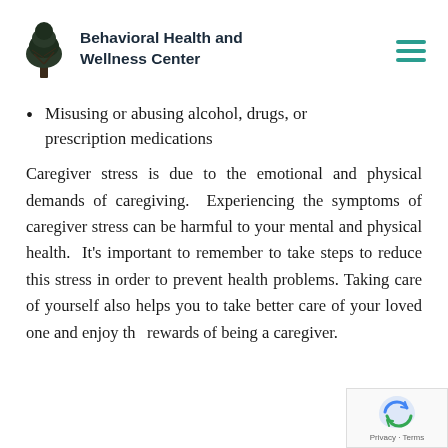Behavioral Health and Wellness Center
Misusing or abusing alcohol, drugs, or prescription medications
Caregiver stress is due to the emotional and physical demands of caregiving.  Experiencing the symptoms of caregiver stress can be harmful to your mental and physical health.  It's important to remember to take steps to reduce this stress in order to prevent health problems. Taking care of yourself also helps you to take better care of your loved one and enjoy the rewards of being a caregiver.